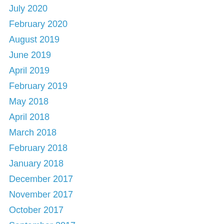July 2020
February 2020
August 2019
June 2019
April 2019
February 2019
May 2018
April 2018
March 2018
February 2018
January 2018
December 2017
November 2017
October 2017
September 2017
August 2017
July 2017
June 2017
May 2017
April 2017